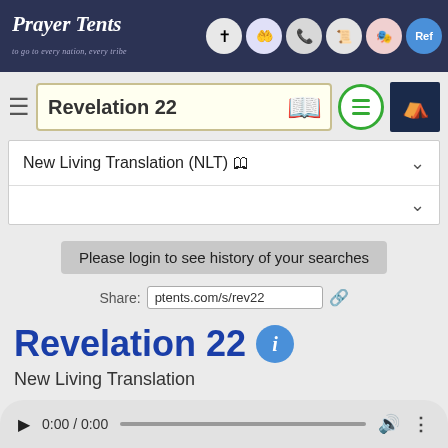Prayer Tents
Revelation 22
New Living Translation (NLT) 🕮
Please login to see history of your searches
Share: ptents.com/s/rev22
Revelation 22
New Living Translation
0:00 / 0:00